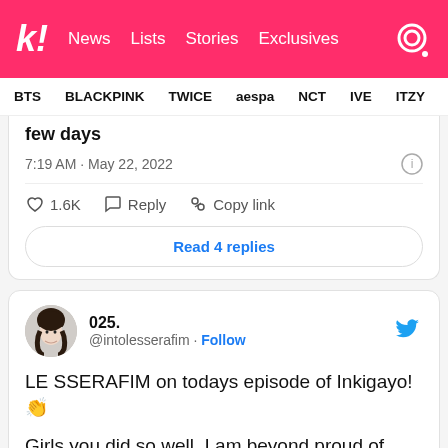k! News Lists Stories Exclusives
BTS BLACKPINK TWICE aespa NCT IVE ITZY
few days
7:19 AM · May 22, 2022
1.6K Reply Copy link
Read 4 replies
025.
@intolesserafim · Follow
LE SSERAFIM on todays episode of Inkigayo! 👏
Girls you did so well, I am beyond proud of you. Keep going, we oysters will always